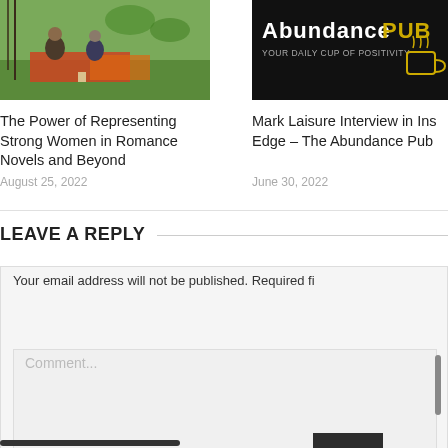[Figure (photo): Outdoor camping scene with people seated on colorful mats on grass, with small items around]
The Power of Representing Strong Women in Romance Novels and Beyond
August 25, 2022
[Figure (logo): AbundancePub logo – dark background with text 'AbundancePUB' and 'YOUR DAILY CUP OF POSITIVITY' with a coffee cup icon]
Mark Laisure Interview in Ins Edge – The Abundance Pub
June 30, 2022
LEAVE A REPLY
Your email address will not be published. Required fi
Comment...